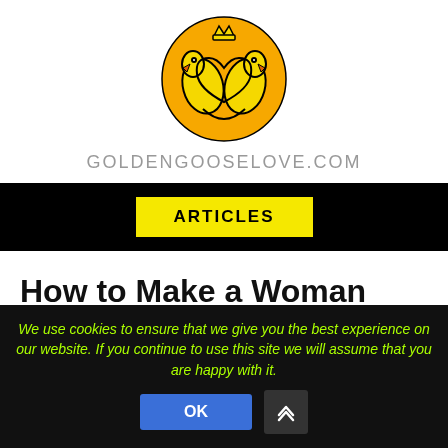[Figure (logo): Golden Goose Love logo: orange circle with two stylized geese forming a heart shape, with a small crown on top]
GOLDENGOOSELOVE.COM
ARTICLES
How to Make a Woman Cum During Sex
Many myths surround how to make a woman cum during
We use cookies to ensure that we give you the best experience on our website. If you continue to use this site we will assume that you are happy with it.